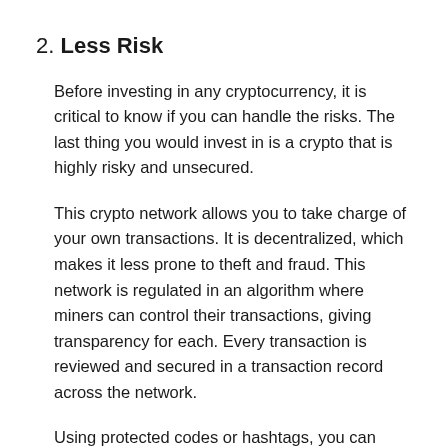2. Less Risk
Before investing in any cryptocurrency, it is critical to know if you can handle the risks. The last thing you would invest in is a crypto that is highly risky and unsecured.
This crypto network allows you to take charge of your own transactions. It is decentralized, which makes it less prone to theft and fraud. This network is regulated in an algorithm where miners can control their transactions, giving transparency for each. Every transaction is reviewed and secured in a transaction record across the network.
Using protected codes or hashtags, you can make your transaction generate with the ease of using the site for mining. Since you can earn through your unused extra bandwidth, you don't have to stake